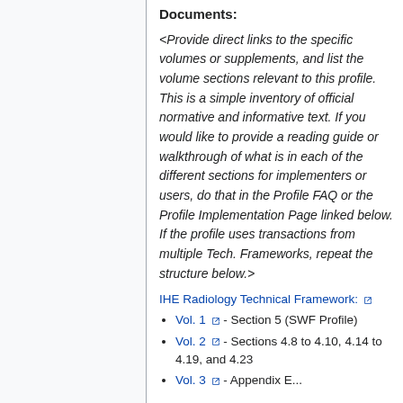Documents:
<Provide direct links to the specific volumes or supplements, and list the volume sections relevant to this profile. This is a simple inventory of official normative and informative text. If you would like to provide a reading guide or walkthrough of what is in each of the different sections for implementers or users, do that in the Profile FAQ or the Profile Implementation Page linked below. If the profile uses transactions from multiple Tech. Frameworks, repeat the structure below.>
IHE Radiology Technical Framework:
Vol. 1 - Section 5 (SWF Profile)
Vol. 2 - Sections 4.8 to 4.10, 4.14 to 4.19, and 4.23
Vol. 3 - Appendix E...